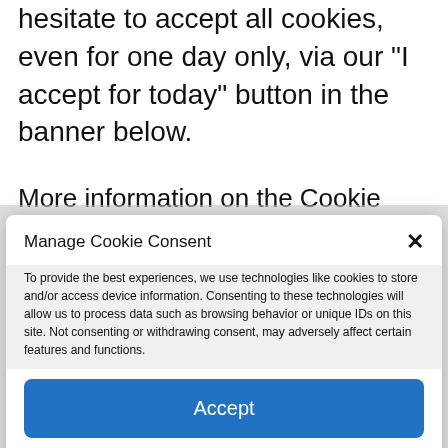hesitate to accept all cookies, even for one day only, via our “I accept for today” button in the banner below.
More information on the Cookie Management Policy page
Manage Cookie Consent
To provide the best experiences, we use technologies like cookies to store and/or access device information. Consenting to these technologies will allow us to process data such as browsing behavior or unique IDs on this site. Not consenting or withdrawing consent, may adversely affect certain features and functions.
Accept
Deny
DMCA   Cookie Policy   Privacy Policy